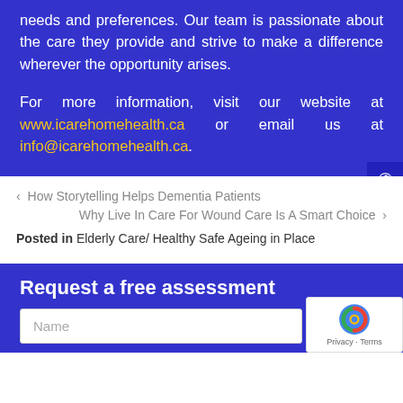needs and preferences. Our team is passionate about the care they provide and strive to make a difference wherever the opportunity arises.
For more information, visit our website at www.icarehomehealth.ca or email us at info@icarehomehealth.ca.
‹ How Storytelling Helps Dementia Patients
Why Live In Care For Wound Care Is A Smart Choice ›
Posted in Elderly Care/ Healthy Safe Ageing in Place
Request a free assessment
Name